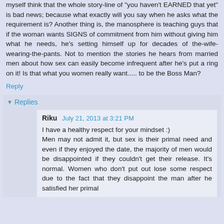myself think that the whole story-line of "you haven't EARNED that yet" is bad news; because what exactly will you say when he asks what the requirement is? Another thing is, the manosphere is teaching guys that if the woman wants SIGNS of commitment from him without giving him what he needs, he's setting himself up for decades of the-wife-wearing-the-pants. Not to mention the stories he hears from married men about how sex can easily become infrequent after he's put a ring on it! Is that what you women really want..... to be the Boss Man?
Reply
Replies
Riku  July 21, 2013 at 3:21 PM
I have a healthy respect for your mindset :)
Men may not admit it, but sex is their primal need and even if they enjoyed the date, the majority of men would be disappointed if they couldn't get their release. It's normal. Women who don't put out lose some respect due to the fact that they disappoint the man after he satisfied her primal